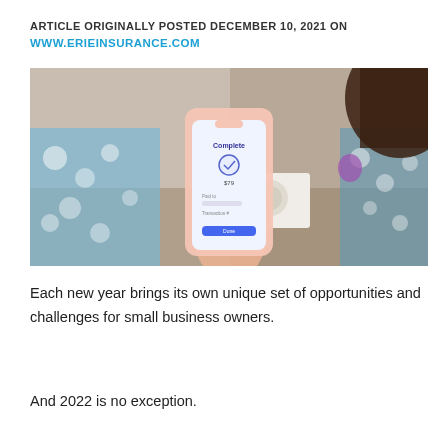ARTICLE ORIGINALLY POSTED DECEMBER 10, 2021 ON WWW.ERIEINSURANCE.COM
[Figure (photo): A person holding a smartphone displaying a payment completion screen, with decorative items visible in the background on a table.]
Each new year brings its own unique set of opportunities and challenges for small business owners.
And 2022 is no exception.